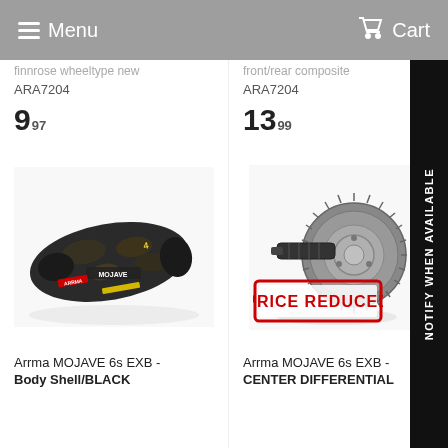Menu  Cart
ARA7204
9.97
ARA7204
13.99
[Figure (photo): Arrma MOJAVE 6s EXB body shell in black camouflage pattern, viewed from above at an angle]
[Figure (photo): Arrma MOJAVE 6s EXB center differential gear component, metal, with PRICE REDUCED stamp overlay]
Arrma MOJAVE 6s EXB - Body Shell/BLACK
Arrma MOJAVE 6s EXB - CENTER DIFFERENTIAL